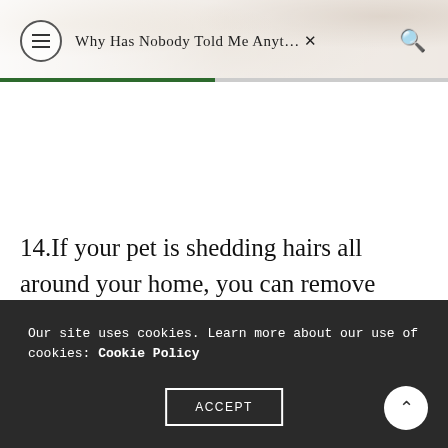Why Has Nobody Told Me Anyt...
14.If your pet is shedding hairs all around your home, you can remove them from the carpet and sofa easily with a clean crystal brush.
Our site uses cookies. Learn more about our use of cookies: Cookie Policy
ACCEPT